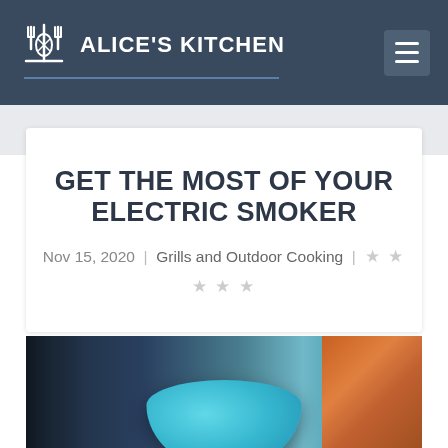ALICE'S KITCHEN
GET THE MOST OF YOUR ELECTRIC SMOKER
Nov 15, 2020  |  Grills and Outdoor Cooking  |  ☆☆☆☆☆
[Figure (photo): Photo of food in a teal bowl on a table with colorful background]